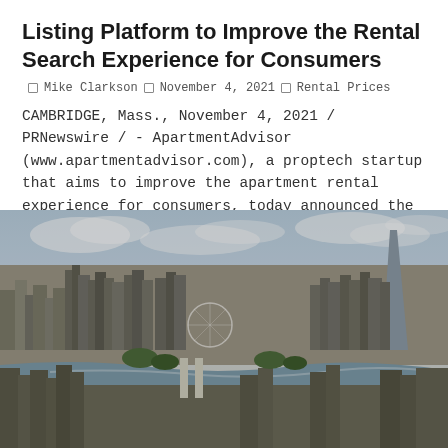Listing Platform to Improve the Rental Search Experience for Consumers
Mike Clarkson   November 4, 2021   Rental Prices
CAMBRIDGE, Mass., November 4, 2021 / PRNewswire / - ApartmentAdvisor (www.apartmentadvisor.com), a proptech startup that aims to improve the apartment rental experience for consumers, today announced the launc...
[Figure (photo): Aerial cityscape photo of London showing the Thames River, The Shard skyscraper, the London Eye, and urban sprawl under a partly cloudy sky.]